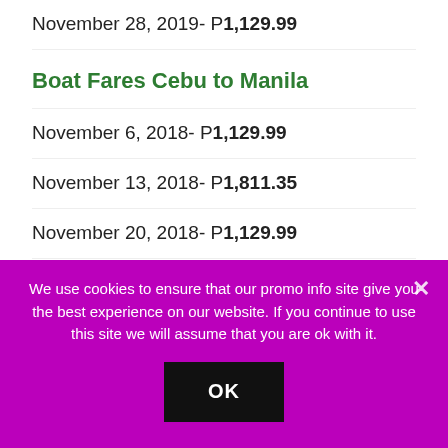November 28, 2019- P1,129.99
Boat Fares Cebu to Manila
November 6, 2018- P1,129.99
November 13, 2018- P1,811.35
November 20, 2018- P1,129.99
November 30, 2018- P1,207.99
We use cookies to ensure that our promo info site give you the best experience on our website. If you continue to use this site we will assume that you are ok with it.